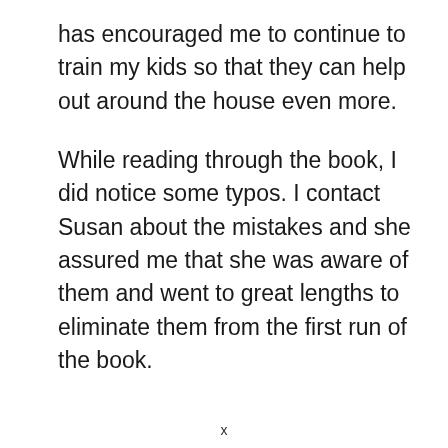has encouraged me to continue to train my kids so that they can help out around the house even more.
While reading through the book, I did notice some typos. I contact Susan about the mistakes and she assured me that she was aware of them and went to great lengths to eliminate them from the first run of the book.
x